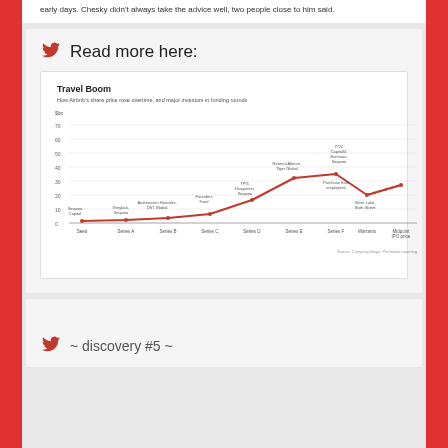early days. Chesky didn't always take the advice well, two people close to him said.
Read more here:
[Figure (line-chart): Travel Boom]
~ discovery #5 ~